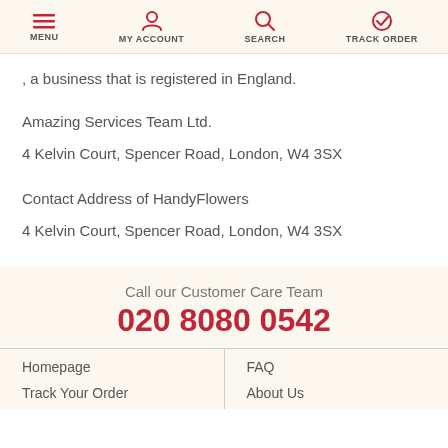MENU | MY ACCOUNT | SEARCH | TRACK ORDER
, a business that is registered in England.
Amazing Services Team Ltd.
4 Kelvin Court, Spencer Road, London, W4 3SX
Contact Address of HandyFlowers
4 Kelvin Court, Spencer Road, London, W4 3SX
Call our Customer Care Team
020 8080 0542
Homepage
Track Your Order
FAQ
About Us